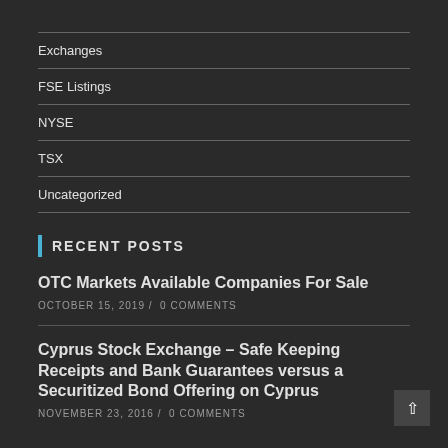Exchanges
FSE Listings
NYSE
TSX
Uncategorized
Recent Posts
OTC Markets Available Companies For Sale
OCTOBER 15, 2019 / 0 COMMENTS
Cyprus Stock Exchange – Safe Keeping Receipts and Bank Guarantees versus a Securitized Bond Offering on Cyprus
NOVEMBER 23, 2016 / 0 COMMENTS